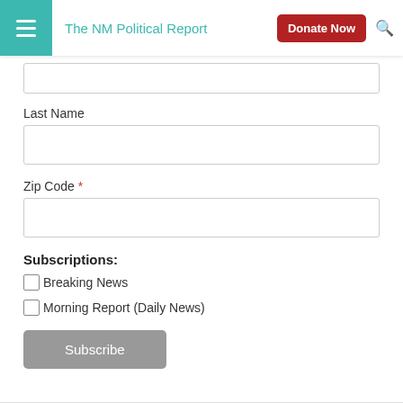The NM Political Report
Last Name
Zip Code *
Subscriptions:
Breaking News
Morning Report (Daily News)
Subscribe